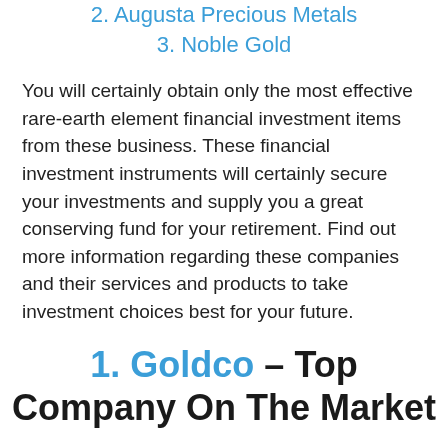2. Augusta Precious Metals
3. Noble Gold
You will certainly obtain only the most effective rare-earth element financial investment items from these business. These financial investment instruments will certainly secure your investments and supply you a great conserving fund for your retirement. Find out more information regarding these companies and their services and products to take investment choices best for your future.
1. Goldco – Top Company On The Market
[Figure (logo): Partial logo or illustration at bottom of page]